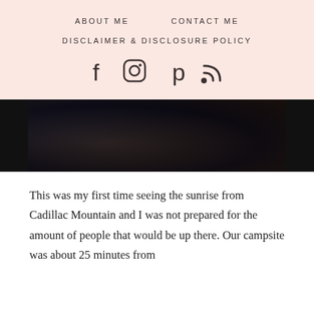ABOUT ME   CONTACT ME
DISCLAIMER & DISCLOSURE POLICY
[Figure (other): Social media icons: Facebook, Instagram, Pinterest, RSS feed]
[Figure (photo): Dark outdoor/nature photo, appears to show people at a mountain viewpoint at dawn or dusk, dark tones]
This was my first time seeing the sunrise from Cadillac Mountain and I was not prepared for the amount of people that would be up there. Our campsite was about 25 minutes from